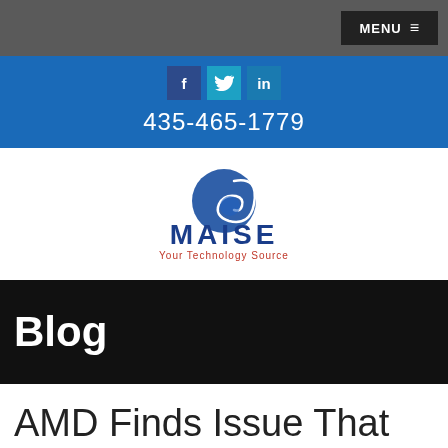MENU ≡
[Figure (logo): Social media icons bar: Facebook (f), Twitter (bird), LinkedIn (in) with phone number 435-465-1779 on blue background]
[Figure (logo): MAISE Your Technology Source logo with blue spiral graphic above the text]
Blog
AMD Finds Issue That